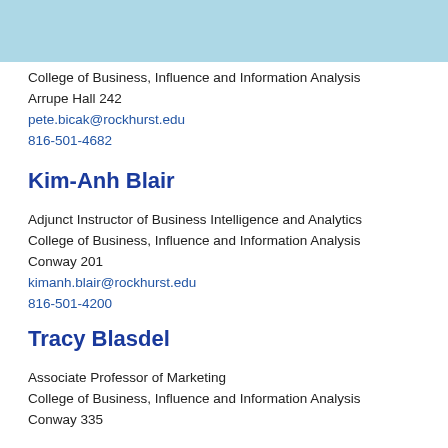[Figure (logo): Rockhurst University header with dark navy left section containing R logo, light blue right section with search and menu icons]
College of Business, Influence and Information Analysis
Arrupe Hall 242
pete.bicak@rockhurst.edu
816-501-4682
Kim-Anh Blair
Adjunct Instructor of Business Intelligence and Analytics
College of Business, Influence and Information Analysis
Conway 201
kimanh.blair@rockhurst.edu
816-501-4200
Tracy Blasdel
Associate Professor of Marketing
College of Business, Influence and Information Analysis
Conway 335